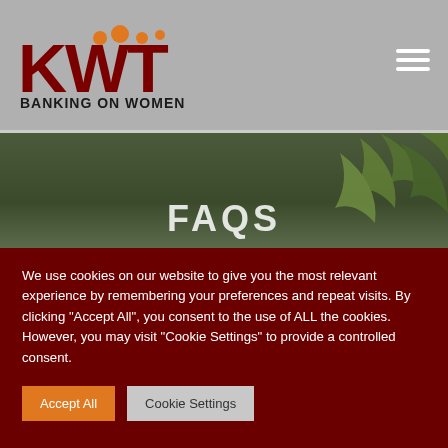[Figure (logo): KWFT Banking on Women logo with orange dots and dark red KWT lettering]
[Figure (photo): Dark green nature/plant background hero image with FAQS text partially visible]
FAQS
We use cookies on our website to give you the most relevant experience by remembering your preferences and repeat visits. By clicking "Accept All", you consent to the use of ALL the cookies. However, you may visit "Cookie Settings" to provide a controlled consent.
Accept All
Cookie Settings